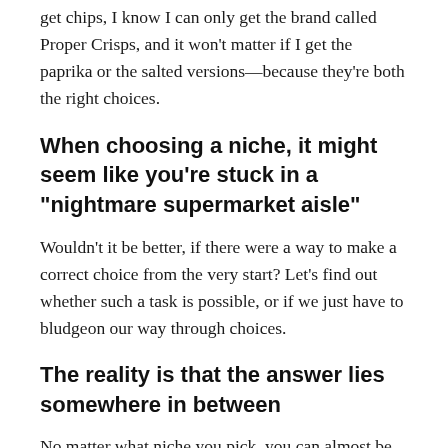get chips, I know I can only get the brand called Proper Crisps, and it won't matter if I get the paprika or the salted versions—because they're both the right choices.
When choosing a niche, it might seem like you're stuck in a “nightmare supermarket aisle”
Wouldn't it be better, if there were a way to make a correct choice from the very start? Let's find out whether such a task is possible, or if we just have to bludgeon our way through choices.
The reality is that the answer lies somewhere in between
No matter what niche you pick, you can almost be certain you're off the mark. The good news is that